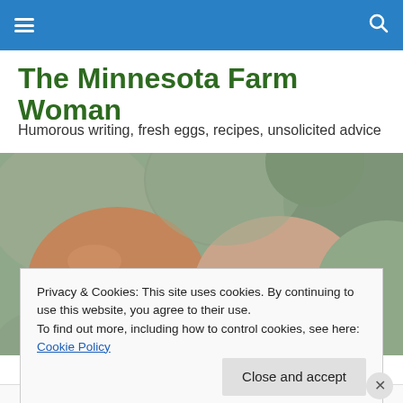Navigation bar with hamburger menu and search icon
The Minnesota Farm Woman
Humorous writing, fresh eggs, recipes, unsolicited advice
[Figure (photo): Close-up photo of multiple eggs in green/sage and brown/tan colors piled together]
Privacy & Cookies: This site uses cookies. By continuing to use this website, you agree to their use.
To find out more, including how to control cookies, see here: Cookie Policy
Close and accept
Advertisements